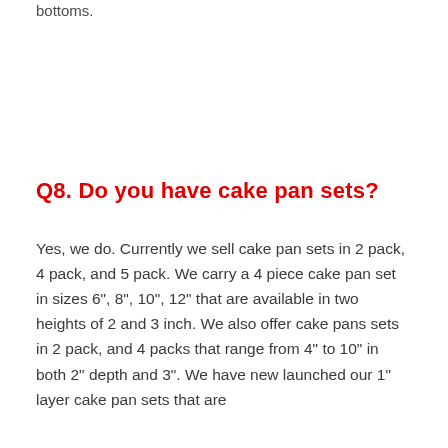bottoms.
Q8.  Do you have cake pan sets?
Yes, we do. Currently we sell cake pan sets in 2 pack, 4 pack, and 5 pack. We carry a 4 piece cake pan set in sizes 6", 8", 10", 12" that are available in two heights of 2 and 3 inch. We also offer cake pans sets in 2 pack, and 4 packs that range from 4" to 10" in both 2" depth and 3". We have new launched our 1" layer cake pan sets that are